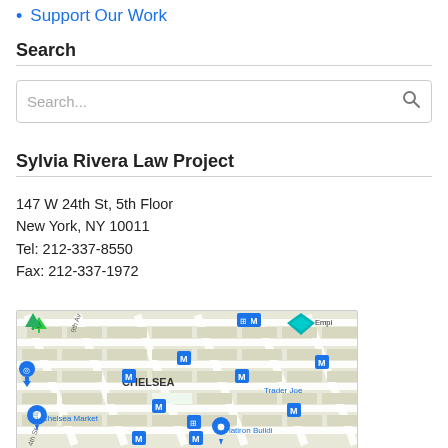Support Our Work
Search
Search...
Sylvia Rivera Law Project
147 W 24th St, 5th Floor
New York, NY 10011
Tel: 212-337-8550
Fax: 212-337-1972
[Figure (map): Google Maps view of Chelsea neighborhood in New York City showing location near 147 W 24th St, with Chelsea Market, Flatiron Building, Trader Joe's, and Empire State Building markers visible.]